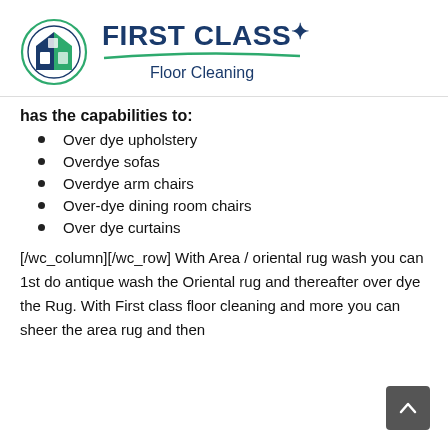[Figure (logo): First Class Floor Cleaning logo with circular icon of house/floor and text 'First Class Floor Cleaning' with decorative star and green swoosh underline]
has the capabilities to:
Over dye upholstery
Overdye sofas
Overdye arm chairs
Over-dye dining room chairs
Over dye curtains
[/wc_column][/wc_row] With Area / oriental rug wash you can 1st do antique wash the Oriental rug and thereafter over dye the Rug. With First class floor cleaning and more you can sheer the area rug and then